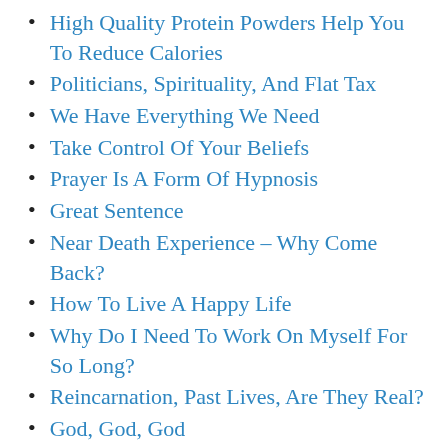High Quality Protein Powders Help You To Reduce Calories
Politicians, Spirituality, And Flat Tax
We Have Everything We Need
Take Control Of Your Beliefs
Prayer Is A Form Of Hypnosis
Great Sentence
Near Death Experience – Why Come Back?
How To Live A Happy Life
Why Do I Need To Work On Myself For So Long?
Reincarnation, Past Lives, Are They Real?
God, God, God
Winning The Battle Of Humanity
What Is Your Purpose?
Subconscious Programming